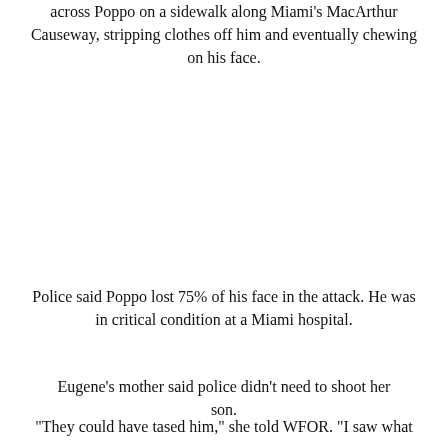across Poppo on a sidewalk along Miami's MacArthur Causeway, stripping clothes off him and eventually chewing on his face.
Police said Poppo lost 75% of his face in the attack. He was in critical condition at a Miami hospital.
Eugene's mother said police didn't need to shoot her son.
"They could have tased him," she told WFOR. "I saw what